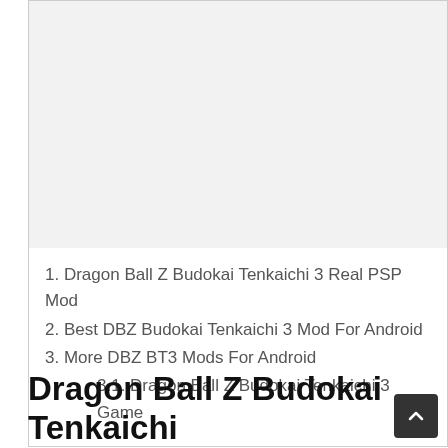[Figure (other): Gray placeholder/advertisement box at the top of the page]
1. Dragon Ball Z Budokai Tenkaichi 3 Real PSP Mod
2. Best DBZ Budokai Tenkaichi 3 Mod For Android
3. More DBZ BT3 Mods For Android
3.1. Dragon Ball Z Budokai Tenkaichi 3 Game
Dragon Ball Z Budokai Tenkaichi 3 Real PSP Mod